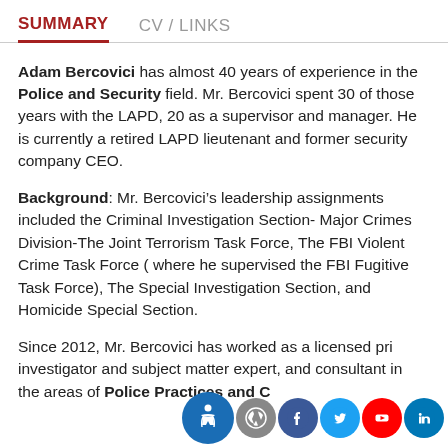SUMMARY | CV / LINKS
Adam Bercovici has almost 40 years of experience in the Police and Security field. Mr. Bercovici spent 30 of those years with the LAPD, 20 as a supervisor and manager. He is currently a retired LAPD lieutenant and former security company CEO.
Background: Mr. Bercovici’s leadership assignments included the Criminal Investigation Section- Major Crimes Division-The Joint Terrorism Task Force, The FBI Violent Crime Task Force ( where he supervised the FBI Fugitive Task Force), The Special Investigation Section, and Homicide Special Section.
Since 2012, Mr. Bercovici has worked as a licensed private investigator and subject matter expert, and consultant in the areas of Police Practices and Complex li...